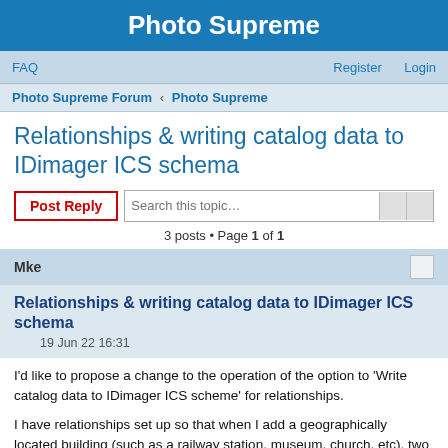Photo Supreme
FAQ   Register   Login
Photo Supreme Forum › Photo Supreme
Relationships & writing catalog data to IDimager ICS schema
Post Reply   Search this topic…
3 posts • Page 1 of 1
Mke
Relationships & writing catalog data to IDimager ICS schema
19 Jun 22 16:31
I'd like to propose a change to the operation of the option to 'Write catalog data to IDimager ICS scheme' for relationships.
I have relationships set up so that when I add a geographically located building (such as a railway station, museum, church, etc), two labels are assigned: the name of the particular building is added to my 'Places'